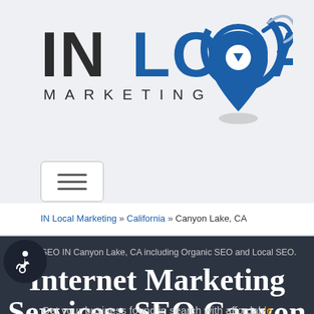[Figure (logo): IN LOCAL MARKETING logo with blue map pin/location marker icon and swirl design]
[Figure (other): Hamburger/toggle menu button with three horizontal lines]
IN Local Marketing » California » Canyon Lake, CA
GET SEO IN Canyon Lake, CA including Organic SEO and Local SEO.
Internet Marketing Services: SEO Canyon Lake, California
Get your business found in search with affordab...